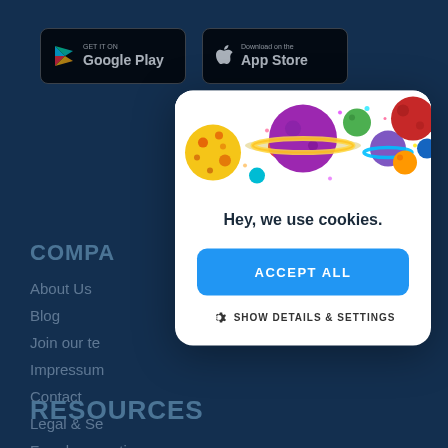[Figure (screenshot): Google Play store badge with play icon and 'GET IT ON Google Play' text on black background]
[Figure (screenshot): Apple App Store badge with Apple logo and 'Download on the App Store' text on black background]
COMPA
About Us
Blog
Join our te
Impressum
Contact
Legal & Se
Fraud prevention
[Figure (illustration): Colorful cartoon planets and space objects illustration: yellow spotted planet, red planet, large purple ringed planet (Saturn-like), green planet, blue-ringed planet, dark red planet, orange planet, blue planet, teal/green small planet]
Hey, we use cookies.
ACCEPT ALL
SHOW DETAILS & SETTINGS
RESOURCES